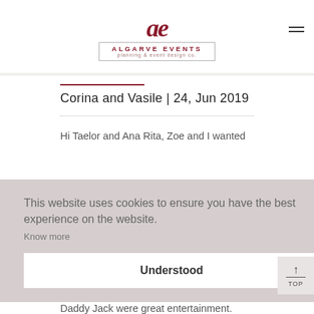[Figure (logo): Algarve Events logo with stylized 'ae' monogram and text 'ALGARVE EVENTS planning & event design co.']
Corina and Vasile | 24, Jun 2019
Hi Taelor and Ana Rita, Zoe and I wanted
This website uses cookies to ensure you have the best experience on the website. Know more
Understood
Daddy Jack were great entertainment.